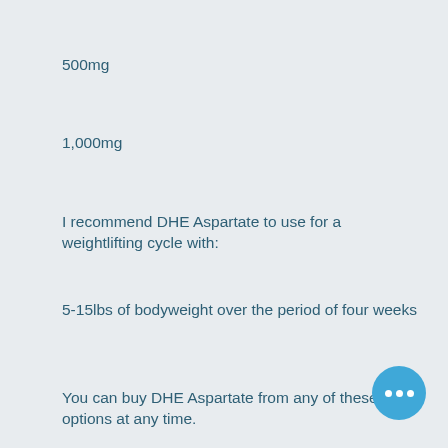500mg
1,000mg
I recommend DHE Aspartate to use for a weightlifting cycle with:
5-15lbs of bodyweight over the period of four weeks
You can buy DHE Aspartate from any of these options at any time.
5-15lbs and below:
From Amazon: DHE Aspartate 50 capsules
From eBay: DHE Aspartate 50mg
From Bodybuilding, anabol-loges and to meet DHE Aspartate 50...